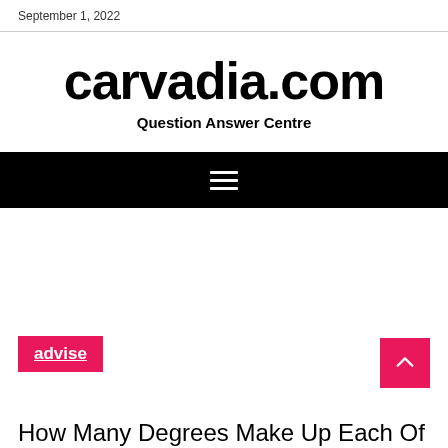September 1, 2022
carvadia.com
Question Answer Centre
[Figure (other): Navigation bar with hamburger menu icon on black background]
advise
How Many Degrees Make Up Each Of